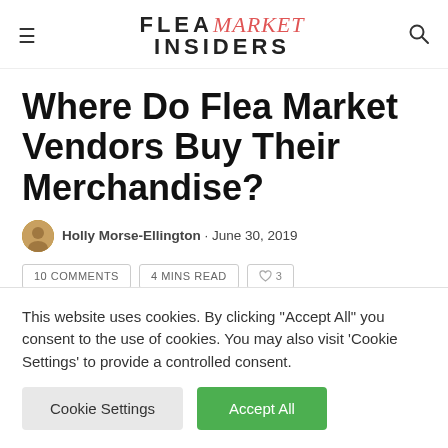FLEA market INSIDERS
Where Do Flea Market Vendors Buy Their Merchandise?
Holly Morse-Ellington · June 30, 2019
10 COMMENTS   4 MINS READ   ♡ 3
This website uses cookies. By clicking "Accept All" you consent to the use of cookies. You may also visit 'Cookie Settings' to provide a controlled consent.
Cookie Settings   Accept All